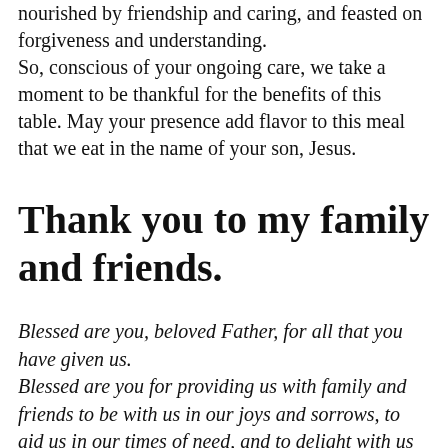nourished by friendship and caring, and feasted on forgiveness and understanding. So, conscious of your ongoing care, we take a moment to be thankful for the benefits of this table. May your presence add flavor to this meal that we eat in the name of your son, Jesus.
Thank you to my family and friends.
Blessed are you, beloved Father, for all that you have given us. Blessed are you for providing us with family and friends to be with us in our joys and sorrows, to aid us in our times of need, and to delight with us in our times of celebration.